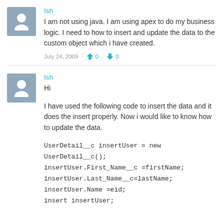Ish
I am not using java. I am using apex to do my business logic. I need to how to insert and update the data to the custom object which i have created.
July 24, 2009 · 0 · 0
Ish
Hi
I have used the following code to insert the data and it does the insert properly. Now i would like to know how to update the data.
UserDetail__c insertUser = new UserDetail__c();
insertUser.First_Name__c =firstName;
insertUser.Last_Name__c=lastName;
insertUser.Name =eid;
insert insertUser;